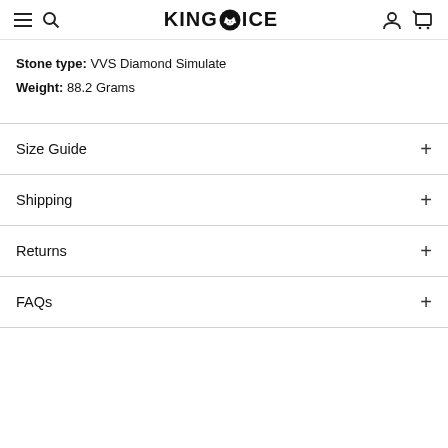KING ICE
Stone type: VVS Diamond Simulate
Weight: 88.2 Grams
Size Guide
Shipping
Returns
FAQs